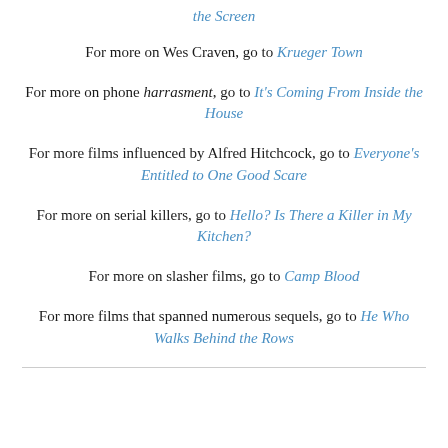the Screen
For more on Wes Craven, go to Krueger Town
For more on phone harrasment, go to It's Coming From Inside the House
For more films influenced by Alfred Hitchcock, go to Everyone's Entitled to One Good Scare
For more on serial killers, go to Hello? Is There a Killer in My Kitchen?
For more on slasher films, go to Camp Blood
For more films that spanned numerous sequels, go to He Who Walks Behind the Rows